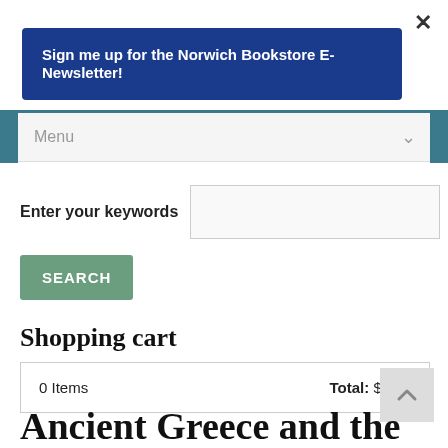×
Sign me up for the Norwich Bookstore E-Newsletter!
Menu
Enter your keywords
SEARCH
Shopping cart
| Items | Total |
| --- | --- |
| 0 Items | Total: $0.00 |
Ancient Greece and the